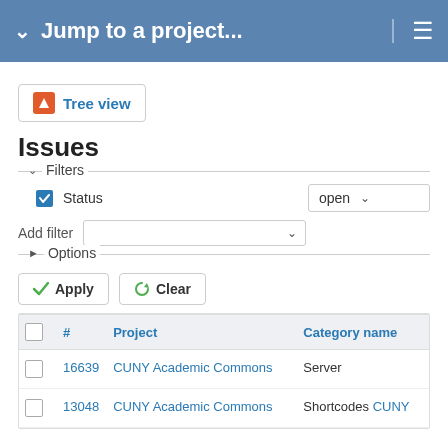Jump to a project...
[Figure (screenshot): Tree view button with orange icon]
Issues
Filters
Status  open
Add filter
Options
Apply  Clear
|  | # | Project | Category name |
| --- | --- | --- | --- |
|  | 16639 | CUNY Academic Commons | Server |
|  | 13048 | CUNY Academic Commons | Shortcodes  CUNY |